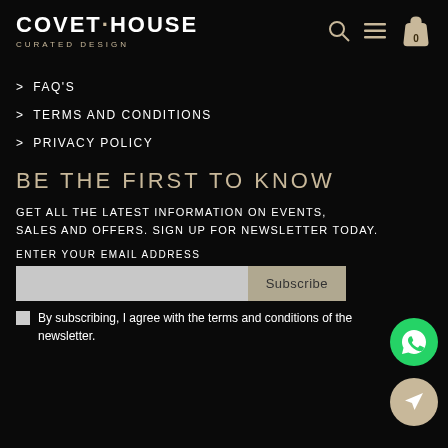COVET·HOUSE CURATED DESIGN
> FAQ'S
> TERMS AND CONDITIONS
> PRIVACY POLICY
BE THE FIRST TO KNOW
GET ALL THE LATEST INFORMATION ON EVENTS, SALES AND OFFERS. SIGN UP FOR NEWSLETTER TODAY.
ENTER YOUR EMAIL ADDRESS
Subscribe
By subscribing, I agree with the terms and conditions of the newsletter.